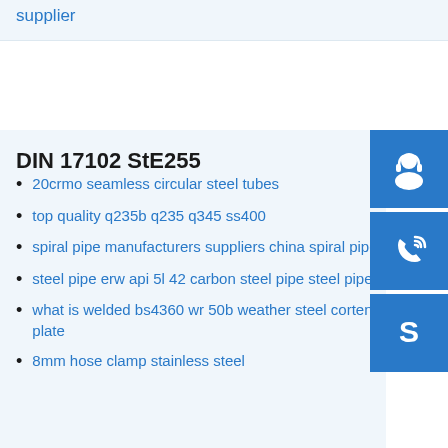supplier
DIN 17102 StE255
20crmo seamless circular steel tubes
top quality q235b q235 q345 ss400
spiral pipe manufacturers suppliers china spiral pipe
steel pipe erw api 5l 42 carbon steel pipe steel pipe
what is welded bs4360 wr 50b weather steel corten plate
8mm hose clamp stainless steel
[Figure (illustration): Blue square icon with white headset/customer support symbol]
[Figure (illustration): Blue square icon with white phone/call symbol]
[Figure (illustration): Blue square icon with white Skype logo symbol]